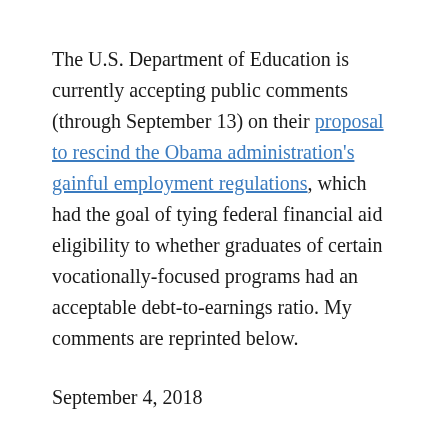The U.S. Department of Education is currently accepting public comments (through September 13) on their proposal to rescind the Obama administration's gainful employment regulations, which had the goal of tying federal financial aid eligibility to whether graduates of certain vocationally-focused programs had an acceptable debt-to-earnings ratio. My comments are reprinted below.
September 4, 2018
Annmarie Weisman
U.S. Department of Education